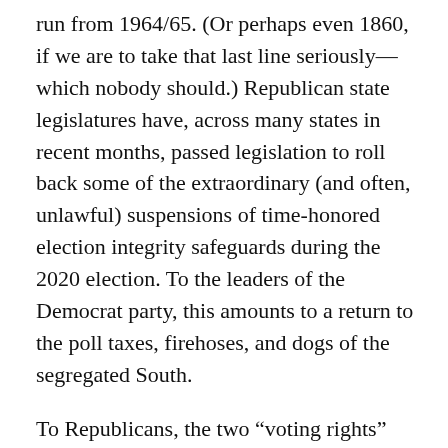run from 1964/65. (Or perhaps even 1860, if we are to take that last line seriously—which nobody should.) Republican state legislatures have, across many states in recent months, passed legislation to roll back some of the extraordinary (and often, unlawful) suspensions of time-honored election integrity safeguards during the 2020 election. To the leaders of the Democrat party, this amounts to a return to the poll taxes, firehoses, and dogs of the segregated South.

To Republicans, the two “voting rights” laws would amount to a federalization of elections without precedent in American history. What’s more, it’s a solution in search of a